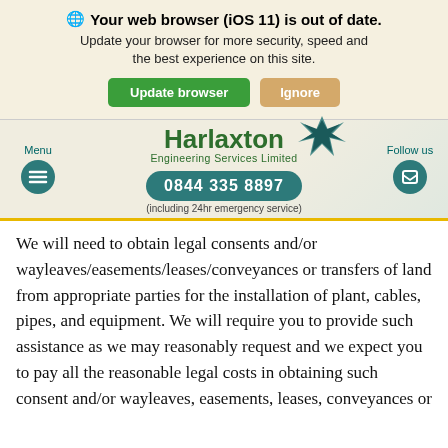🌐 Your web browser (iOS 11) is out of date. Update your browser for more security, speed and the best experience on this site. [Update browser] [Ignore]
[Figure (screenshot): Harlaxton Engineering Services Limited website header with logo, navigation menu icon, phone number 0844 335 8897, and Follow us icon]
We will need to obtain legal consents and/or wayleaves/easements/leases/conveyances or transfers of land from appropriate parties for the installation of plant, cables, pipes, and equipment. We will require you to provide such assistance as we may reasonably request and we expect you to pay all the reasonable legal costs in obtaining such consent and/or wayleaves, easements, leases, conveyances or